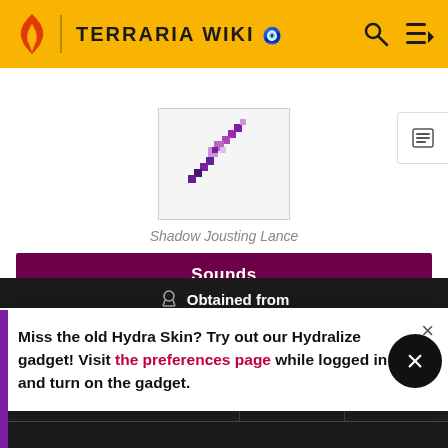TERRARIA WIKI
[Figure (illustration): Shadow Jousting Lance pixel art weapon — a purple lance/sword diagonal]
Shadow Jousting Lance
Sounds
Miss the old Hydra Skin? Try out our Hydralize gadget! Visit the preferences page while logged in and turn on the gadget.
| Entity | Qty. | Rate |
| --- | --- | --- |
| Giant Cursed Skull | 1 | 4% |